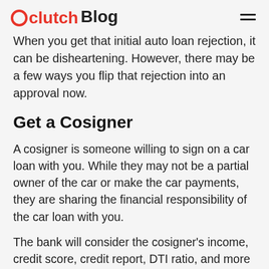clutch Blog
When you get that initial auto loan rejection, it can be disheartening. However, there may be a few ways you flip that rejection into an approval now.
Get a Cosigner
A cosigner is someone willing to sign on a car loan with you. While they may not be a partial owner of the car or make the car payments, they are sharing the financial responsibility of the car loan with you.
The bank will consider the cosigner's income, credit score, credit report, DTI ratio, and more